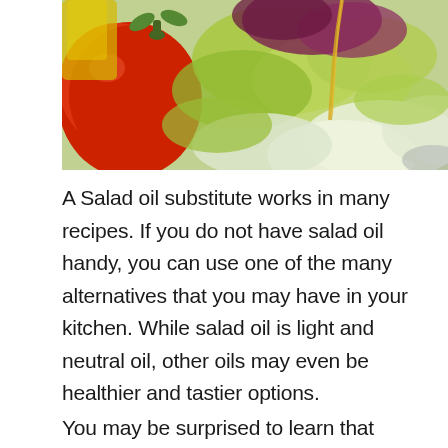[Figure (photo): Close-up photograph of a fresh salad with tomatoes, green and purple lettuce leaves, and a drizzle of oil]
A Salad oil substitute works in many recipes. If you do not have salad oil handy, you can use one of the many alternatives that you may have in your kitchen. While salad oil is light and neutral oil, other oils may even be healthier and tastier options.
You may be surprised to learn that though